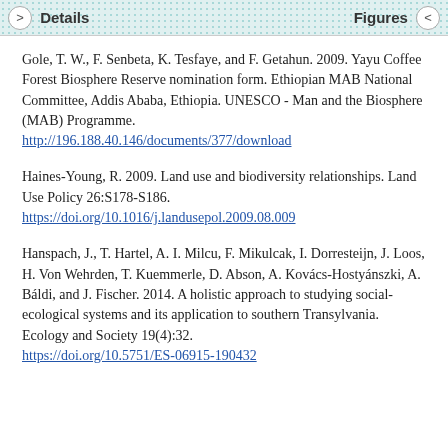Details   Figures
Gole, T. W., F. Senbeta, K. Tesfaye, and F. Getahun. 2009. Yayu Coffee Forest Biosphere Reserve nomination form. Ethiopian MAB National Committee, Addis Ababa, Ethiopia. UNESCO - Man and the Biosphere (MAB) Programme.
http://196.188.40.146/documents/377/download
Haines-Young, R. 2009. Land use and biodiversity relationships. Land Use Policy 26:S178-S186.
https://doi.org/10.1016/j.landusepol.2009.08.009
Hanspach, J., T. Hartel, A. I. Milcu, F. Mikulcak, I. Dorresteijn, J. Loos, H. Von Wehrden, T. Kuemmerle, D. Abson, A. Kovács-Hostyánszki, A. Báldi, and J. Fischer. 2014. A holistic approach to studying social-ecological systems and its application to southern Transylvania. Ecology and Society 19(4):32.
https://doi.org/10.5751/ES-06915-190432